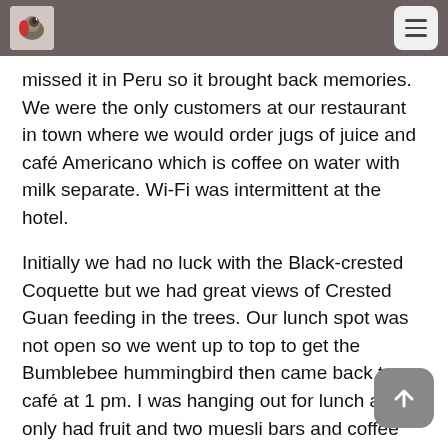missed it in Peru so it brought back memories. We were the only customers at our restaurant in town where we would order jugs of juice and café Americano which is coffee on water with milk separate. Wi-Fi was intermittent at the hotel.
Initially we had no luck with the Black-crested Coquette but we had great views of Crested Guan feeding in the trees. Our lunch spot was not open so we went up to top to get the Bumblebee hummingbird then came back to a café at 1 pm. I was hanging out for lunch as I only had fruit and two muesli bars and coffee breakfast. We had great views of Blue-crowned Chlorophonia